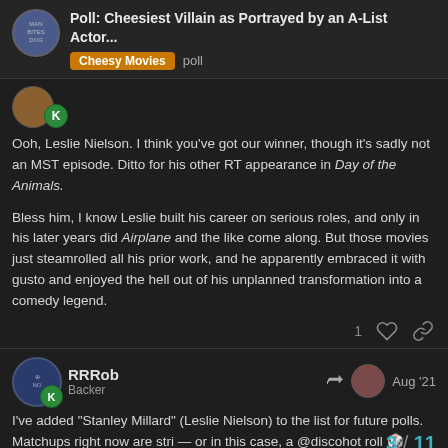Poll: Cheesiest Villain as Portrayed by an A-List Actor... | Cheesy Movies | poll
[Figure (screenshot): User avatar – circular blue/grey icon with text]
Ooh, Leslie Nielson. I think you've got our winner, though it's sadly not an MST episode. Ditto for his other RT appearance in Day of the Animals.

Bless him, I know Leslie built his career on serious roles, and only in his later years did Airplane and the like come along. But those movies just steamrolled all his prior work, and he apparently embraced it with gusto and enjoyed the hell out of his unplanned transformation into a comedy legend.
1
RRRob
Backer
Aug '21
I've added "Stanley Millard" (Leslie Nielson) to the list for future polls. Matchups right now are stri — or in this case, a @discohot roll 🎲
3 / 11